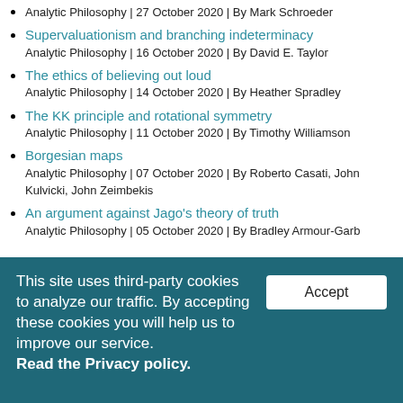Analytic Philosophy | 27 October 2020 | By Mark Schroeder
Supervaluationism and branching indeterminacy
Analytic Philosophy | 16 October 2020 | By David E. Taylor
The ethics of believing out loud
Analytic Philosophy | 14 October 2020 | By Heather Spradley
The KK principle and rotational symmetry
Analytic Philosophy | 11 October 2020 | By Timothy Williamson
Borgesian maps
Analytic Philosophy | 07 October 2020 | By Roberto Casati, John Kulvicki, John Zeimbekis
An argument against Jago's theory of truth
Analytic Philosophy | 05 October 2020 | By Bradley Armour-Garb
This site uses third-party cookies to analyze our traffic. By accepting these cookies you will help us to improve our service. Read the Privacy policy.